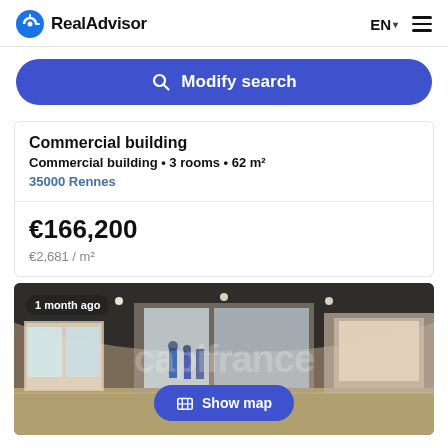RealAdvisor  EN  ☰
Modify search
Commercial building
Commercial building • 3 rooms • 62 m²
35000 Rennes
€166,200
€2,681 / m²
[Figure (photo): Interior of a commercial shopping mall with storefronts, glass windows, and shoppers. Text overlay '1 month ago' in top left. 'Show map' button at bottom center.]